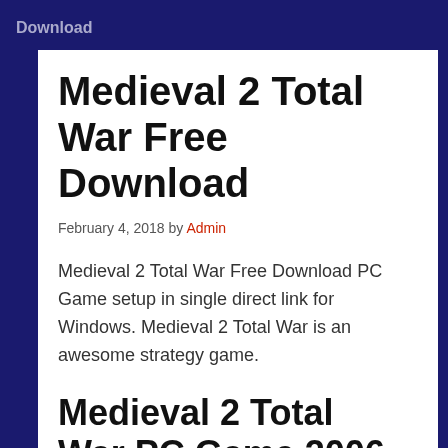Download
Medieval 2 Total War Free Download
February 4, 2018 by Admin
Medieval 2 Total War Free Download PC Game setup in single direct link for Windows. Medieval 2 Total War is an awesome strategy game.
Medieval 2 Total War PC Game 2006 Overview
Medieval 2 Total War has been developed by Creative Assembly and is published under the banner